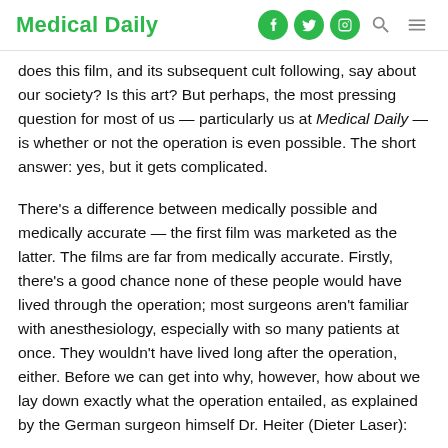Medical Daily
does this film, and its subsequent cult following, say about our society? Is this art? But perhaps, the most pressing question for most of us — particularly us at Medical Daily — is whether or not the operation is even possible. The short answer: yes, but it gets complicated.
There's a difference between medically possible and medically accurate — the first film was marketed as the latter. The films are far from medically accurate. Firstly, there's a good chance none of these people would have lived through the operation; most surgeons aren't familiar with anesthesiology, especially with so many patients at once. They wouldn't have lived long after the operation, either. Before we can get into why, however, how about we lay down exactly what the operation entailed, as explained by the German surgeon himself Dr. Heiter (Dieter Laser):